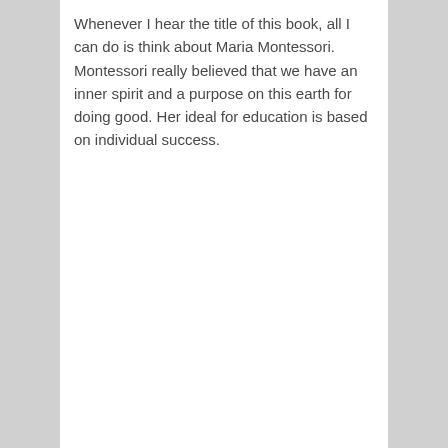Whenever I hear the title of this book, all I can do is think about Maria Montessori. Montessori really believed that we have an inner spirit and a purpose on this earth for doing good. Her ideal for education is based on individual success.